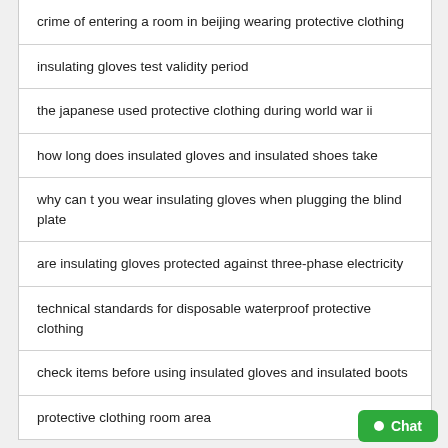| crime of entering a room in beijing wearing protective clothing |
| insulating gloves test validity period |
| the japanese used protective clothing during world war ii |
| how long does insulated gloves and insulated shoes take |
| why can t you wear insulating gloves when plugging the blind plate |
| are insulating gloves protected against three-phase electricity |
| technical standards for disposable waterproof protective clothing |
| check items before using insulated gloves and insulated boots |
| protective clothing room area |